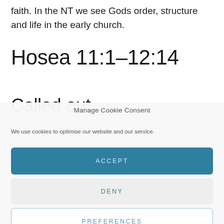faith. In the NT we see Gods order, structure and life in the early church.
Hosea 11:1–12:14
Called out
Manage Cookie Consent
We use cookies to optimise our website and our service.
ACCEPT
DENY
PREFERENCES